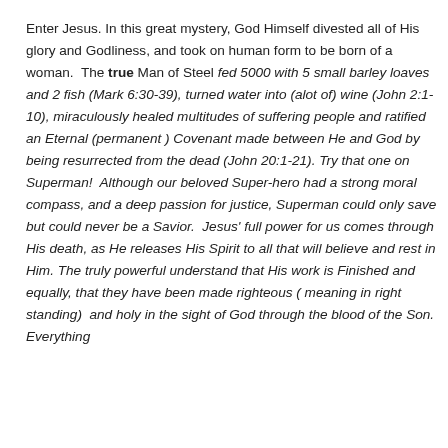Enter Jesus. In this great mystery, God Himself divested all of His glory and Godliness, and took on human form to be born of a woman.  The true Man of Steel fed 5000 with 5 small barley loaves and 2 fish (Mark 6:30-39), turned water into (alot of) wine (John 2:1-10), miraculously healed multitudes of suffering people and ratified an Eternal (permanent ) Covenant made between He and God by being resurrected from the dead (John 20:1-21). Try that one on Superman!  Although our beloved Super-hero had a strong moral compass, and a deep passion for justice, Superman could only save but could never be a Savior.  Jesus' full power for us comes through His death, as He releases His Spirit to all that will believe and rest in Him. The truly powerful understand that His work is Finished and equally, that they have been made righteous ( meaning in right standing)  and holy in the sight of God through the blood of the Son. Everything